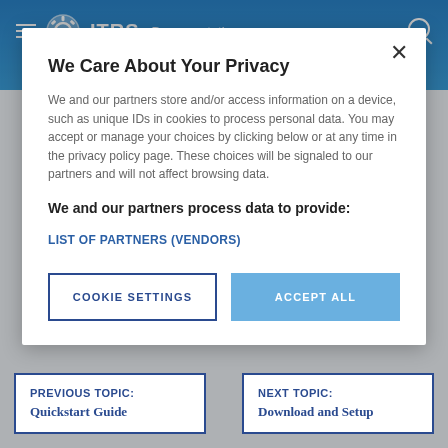[Figure (screenshot): Blue navigation header bar with hamburger menu icon, ITRS Documentation logo and brand text, and search icon]
We Care About Your Privacy
We and our partners store and/or access information on a device, such as unique IDs in cookies to process personal data. You may accept or manage your choices by clicking below or at any time in the privacy policy page. These choices will be signaled to our partners and will not affect browsing data.
We and our partners process data to provide:
LIST OF PARTNERS (VENDORS)
COOKIE SETTINGS
ACCEPT ALL
PREVIOUS TOPIC:
Quickstart Guide
NEXT TOPIC:
Download and Setup